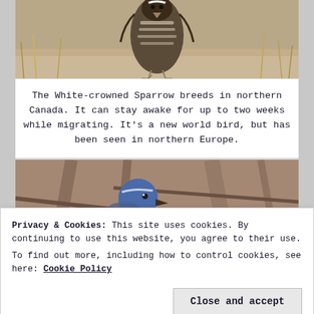[Figure (photo): Close-up photo of a bird (White-crowned Sparrow) viewed from front, standing on sandy ground with dry grass, showing striped plumage pattern on its chest and wings]
The White-crowned Sparrow breeds in northern Canada. It can stay awake for up to two weeks while migrating. It's a new world bird, but has been seen in northern Europe.
[Figure (photo): Photo of a blue-headed bird (likely a scrub jay) perched among bare brown branches]
Privacy & Cookies: This site uses cookies. By continuing to use this website, you agree to their use.
To find out more, including how to control cookies, see here: Cookie Policy
[Figure (photo): Partial photo of another bird at the bottom of the page]